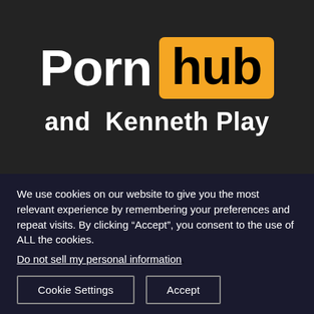[Figure (logo): Pornhub logo with 'Porn' in white text and 'hub' in black text on orange rounded rectangle background, followed by 'and Kenneth Play' in white bold text, overlaid on a dark blurred background image]
We use cookies on our website to give you the most relevant experience by remembering your preferences and repeat visits. By clicking “Accept”, you consent to the use of ALL the cookies.
Do not sell my personal information.
Cookie Settings
Accept